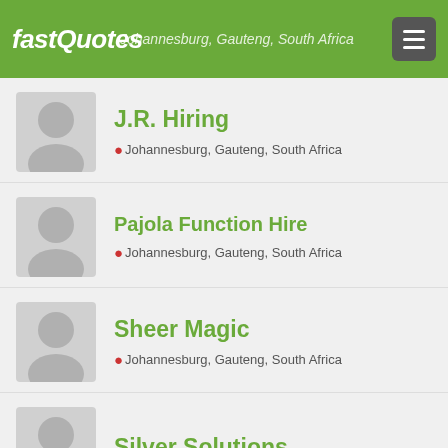fastQuotes — Johannesburg, Gauteng, South Africa
J.R. Hiring
Johannesburg, Gauteng, South Africa
Pajola Function Hire
Johannesburg, Gauteng, South Africa
Sheer Magic
Johannesburg, Gauteng, South Africa
Silver Solutions